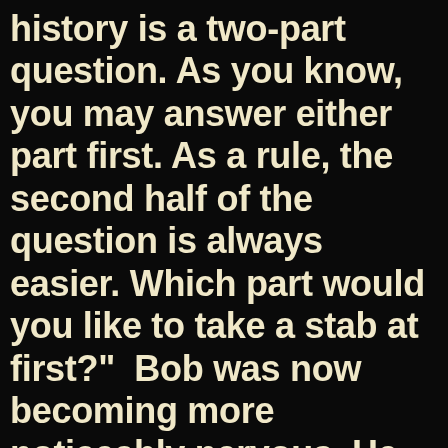history is a two-part question. As you know, you may answer either part first. As a rule, the second half of the question is always easier. Which part would you like to take a stab at first?"  Bob was now becoming more noticeably nervous. He couldn't believe it, but he